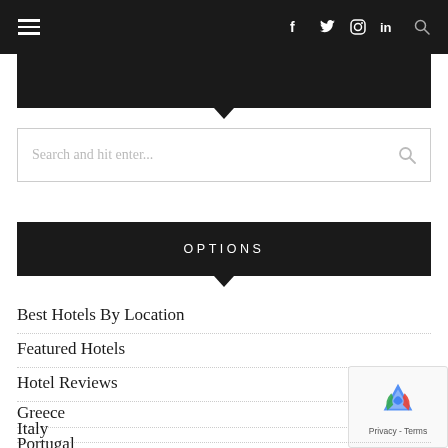Navigation bar with hamburger menu and social icons: f, twitter, instagram, in, search
[Figure (screenshot): Black navigation bar with hamburger menu on left and social media icons (Facebook, Twitter, Instagram, LinkedIn) and search icon on right]
[Figure (screenshot): Search input box with placeholder text 'Search and hit enter...' and search icon]
OPTIONS
Best Hotels By Location
Featured Hotels
Hotel Reviews
Greece
Italy
Portugal